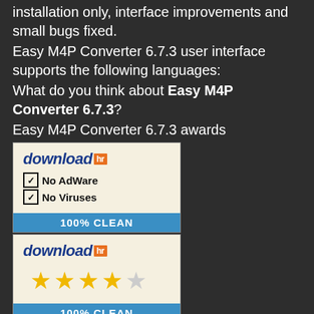installation only, interface improvements and small bugs fixed.
Easy M4P Converter 6.7.3 user interface supports the following languages:
What do you think about Easy M4P Converter 6.7.3?
Easy M4P Converter 6.7.3 awards
[Figure (illustration): Two download.hr award badges. First badge: white background with 'download.hr' logo (blue italic text with orange 'hr' box), two checkboxes with 'No AdWare' and 'No Viruses', and a blue '100% CLEAN' banner at bottom. Second badge: same logo, four gold stars and one grey star, and blue '100% CLEAN' banner at bottom.]
Источник: https://www.download.io/easy-m4p-converter-download-windows.html
Works with your installed truetype opentype and dingbat/wingding fonts : The software can import various